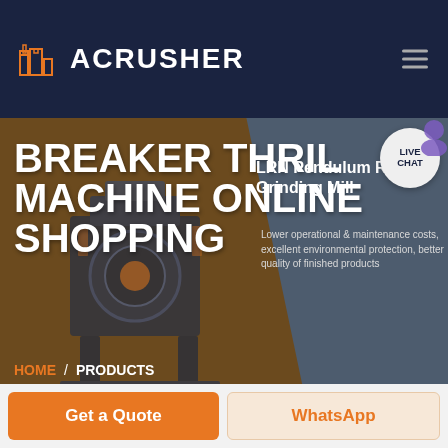ACRUSHER
[Figure (screenshot): ACRUSHER website screenshot showing a hero banner with 'BREAKER THRIL MACHINE ONLINE SHOPPING' headline over industrial grinding machine imagery, with product info panel showing 'LRN Pendulum Roller Grinding Mill' and breadcrumb navigation HOME / PRODUCTS, plus a Live Chat bubble and CTA buttons Get a Quote and WhatsApp]
BREAKER THRIL MACHINE ONLINE SHOPPING
LRN Pendulum Roller Grinding Mill
Lower operational & maintenance costs, excellent environmental protection, better quality of finished products
HOME / PRODUCTS
Get a Quote
WhatsApp